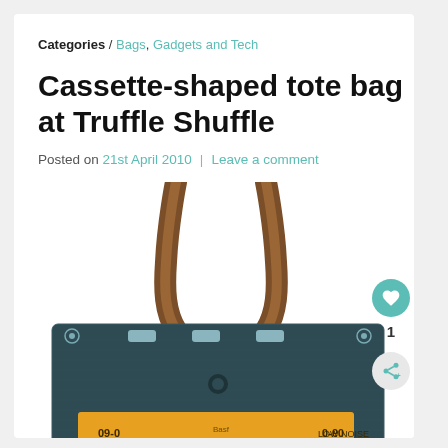Categories / Bags, Gadgets and Tech
Cassette-shaped tote bag at Truffle Shuffle
Posted on 21st April 2010  |  Leave a comment
[Figure (photo): A cassette tape-shaped tote bag with brown straps, featuring a dark teal cassette body with a yellow/orange label area showing '09-0' and 'LOW NOISE' text, photographed on white background.]